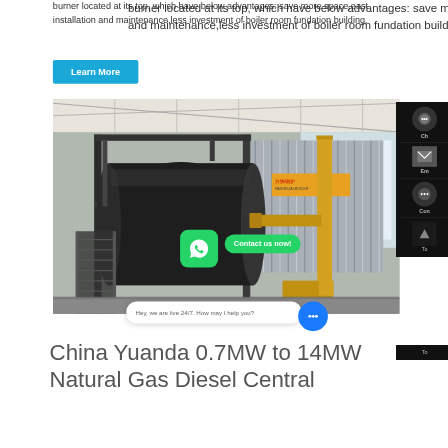burner located at its top, which have below advantages: save more space,east installation and maintenance,less investment of boiler room fundation building.
Learn More
[Figure (photo): Industrial boiler unit in a factory setting, showing a large cylindrical black boiler with yellow piping, metal framework and stairs, silver corrugated panel enclosure, inside a large industrial building with steel roof trusses.]
Ch
Em
Con
Contact us now!
Hey, we are live 24/7. How may I help you?
China Yuanda 0.7MW to 14MW Natural Gas Diesel Central